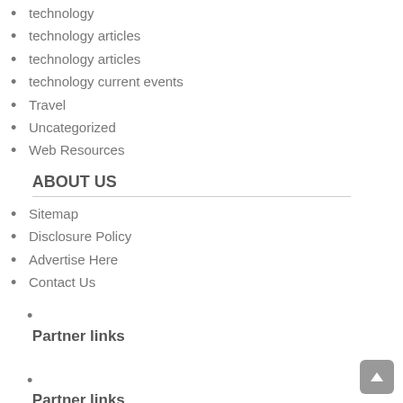technology
technology articles
technology articles
technology current events
Travel
Uncategorized
Web Resources
ABOUT US
Sitemap
Disclosure Policy
Advertise Here
Contact Us
Partner links
Partner links